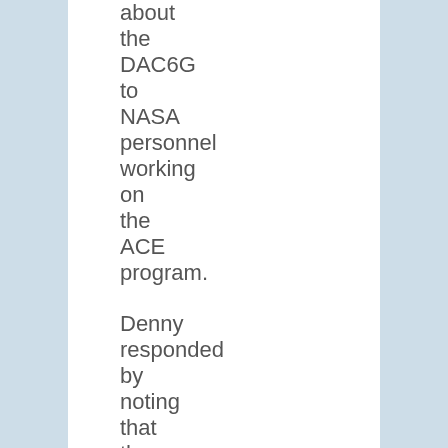about the DAC6G to NASA personnel working on the ACE program. Denny responded by noting that the blond in a green dress with